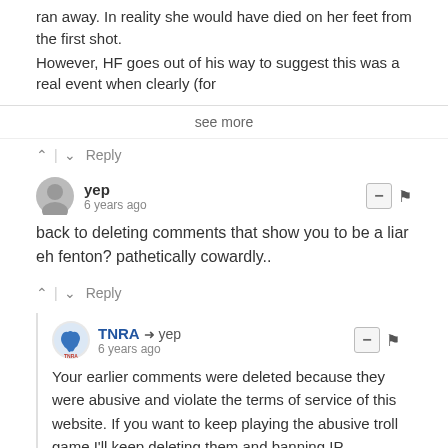ran away. In reality she would have died on her feet from the first shot.
However, HF goes out of his way to suggest this was a real event when clearly (for
see more
↑ | ↓   Reply
yep
6 years ago
back to deleting comments that show you to be a liar eh fenton? pathetically cowardly..
↑ | ↓   Reply
TNRA → yep
6 years ago
Your earlier comments were deleted because they were abusive and violate the terms of service of this website. If you want to keep playing the abusive troll game I'll keep deleting them and banning IP addresses. It's up to you mate.
↑ | ↓   Reply